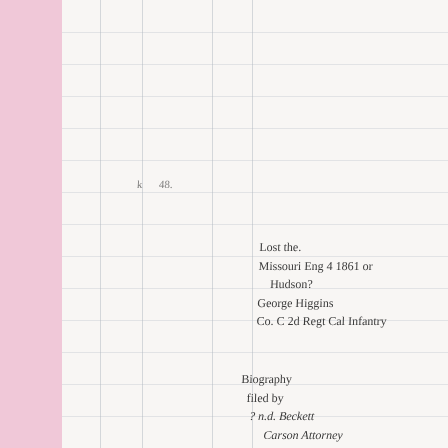[Figure (other): Handwritten legal document page with ruled columns on the left (pink margin strip visible), vertical column dividers, horizontal ruled lines, and cursive handwritten text in the right portion. Text reads: 'Lost the / Missouri Eng 4 1861 or / Hudson? / George Higgins / Co C 2d Regt Cal Infantry' and below 'Biography / filed by / ? n.d. Beckett / Carson Attorney / ? ? ? ?']